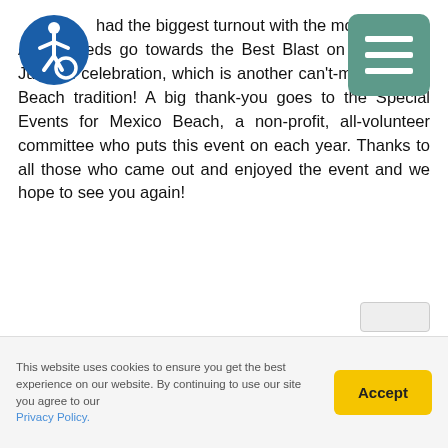[Figure (illustration): Blue circle with white wheelchair accessibility icon (person in wheelchair)]
[Figure (other): Teal/green rounded rectangle menu button with three white horizontal lines (hamburger menu icon)]
had the biggest turnout with the most cooks! All proceeds go towards the Best Blast on the Beach July 4th celebration, which is another can't-miss Mexico Beach tradition! A big thank-you goes to the Special Events for Mexico Beach, a non-profit, all-volunteer committee who puts this event on each year. Thanks to all those who came out and enjoyed the event and we hope to see you again!
For more information on these and other great events happening in and around Mexico Beach, Florida, visit our Calendar of Events and start planning your trip today!
This website uses cookies to ensure you get the best experience on our website. By continuing to use our site you agree to our Privacy Policy.